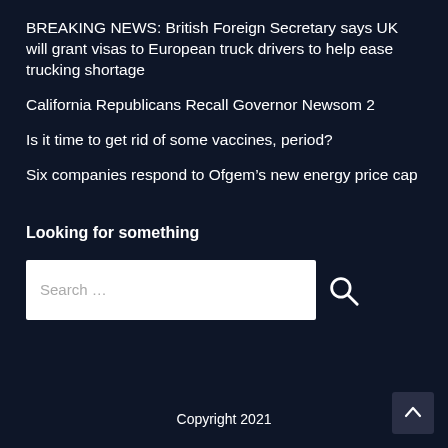BREAKING NEWS: British Foreign Secretary says UK will grant visas to European truck drivers to help ease trucking shortage
California Republicans Recall Governor Newsom 2
Is it time to get rid of some vaccines, period?
Six companies respond to Ofgem's new energy price cap
Looking for something
Search ...
Copyright 2021